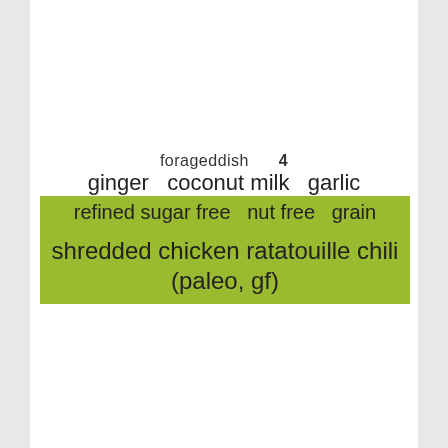forageddish   4
ginger   coconut milk   garlic
refined sugar free  nut free  grain
shredded chicken ratatouille chili (paleo, gf)